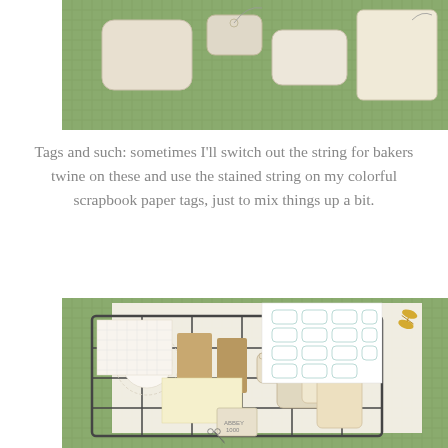[Figure (photo): Tags and paper crafting supplies on a green cutting mat — various cream and beige tags with string, some blank and some with outlines, arranged on a self-healing cutting mat with a grid pattern.]
Tags and such: sometimes I'll switch out the string for bakers twine on these and use the stained string on my colorful scrapbook paper tags, just to mix things up a bit.
[Figure (photo): A wire basket/organizer holding an assortment of crafting supplies on a green cutting mat: paper bags, manila tags, label stickers, a doily, grid paper, and gold scissors visible in the upper right corner.]